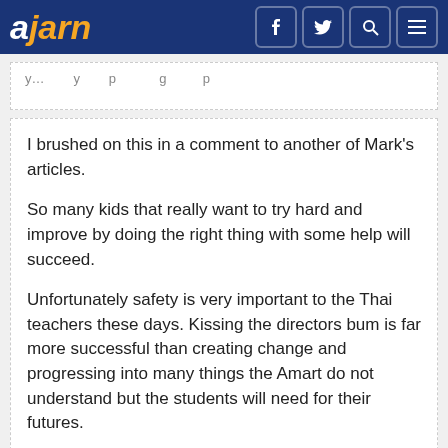ajarn
I brushed on this in a comment to another of Mark's articles.
So many kids that really want to try hard and improve by doing the right thing with some help will succeed.
Unfortunately safety is very important to the Thai teachers these days. Kissing the directors bum is far more successful than creating change and progressing into many things the Amart do not understand but the students will need for their futures.
Great articles Mark and good to here you are clever enough to move within the system for the good of all the